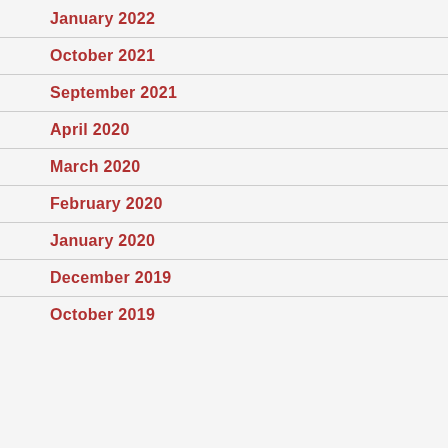January 2022
October 2021
September 2021
April 2020
March 2020
February 2020
January 2020
December 2019
October 2019